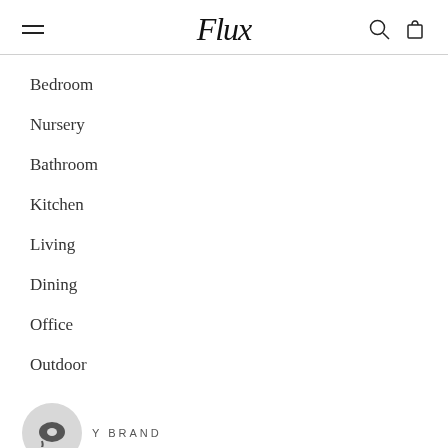Flux
Bedroom
Nursery
Bathroom
Kitchen
Living
Dining
Office
Outdoor
BY BRAND
Axel & Ash